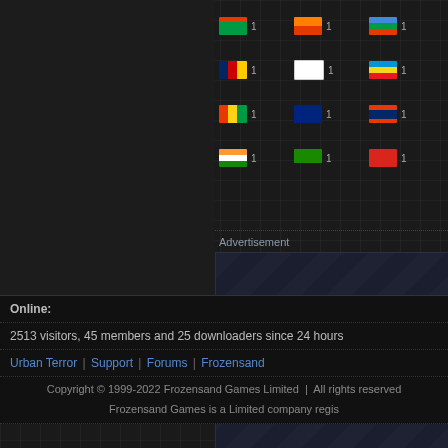[Figure (screenshot): Grid of country flags each with count of 1, displayed in a dark themed web page]
Advertisement
[Figure (other): Advertisement placeholder with diagonal stripe pattern]
Online:
2513 visitors, 45 members and 25 downloaders since 24 hours
Urban Terror | Support | Forums | Frozensand
Copyright © 1999-2022 Frozensand Games Limited  |  All rights reserved
Frozensand Games is a Limited company regis